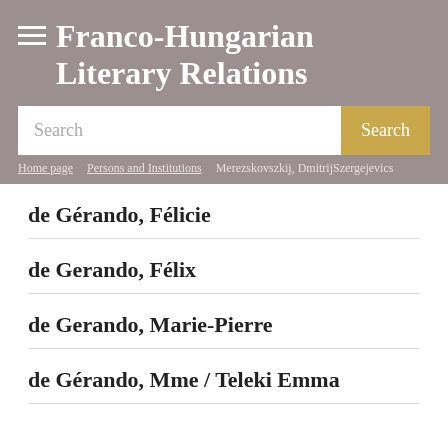Franco-Hungarian Literary Relations
Search
Home page / Persons and Institutions / Merezskovszkij, Dmitrij Szergejevics
de Gérando, Félicie
de Gerando, Félix
de Gerando, Marie-Pierre
de Gérando, Mme / Teleki Emma